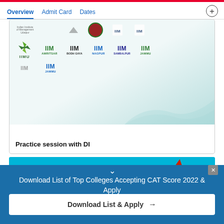Overview  Admit Card  Dates
[Figure (screenshot): Grid of IIM college logos including IIMU, IIM Amritsar, IIM Bodh Gaya, IIM Nagpur, IIM Sambalpur, IIM Jammu and others]
Practice session with DI
[Figure (infographic): Blue promotional banner with download CTA]
Download List of Top Colleges Accepting CAT Score 2022 & Apply
Download List & Apply →